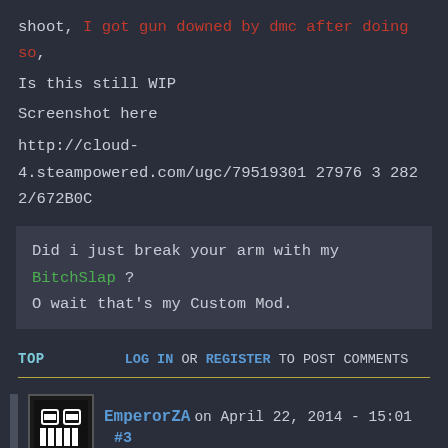shoot, I got gun downed by dmc after doing so,
Is this still WIP
Screenshot here
http://cloud-4.steampowered.com/ugc/795193012797632822/672B0C...
Did i just break your arm with my BitchSlap ? O wait that's my Custom Mod.
TOP   LOG IN OR REGISTER TO POST COMMENTS
EmperorZA on April 22, 2014 - 15:01   #3
yeah damn, very WIP, I'm trying to figure out why it won't fire, but I don't understand why the